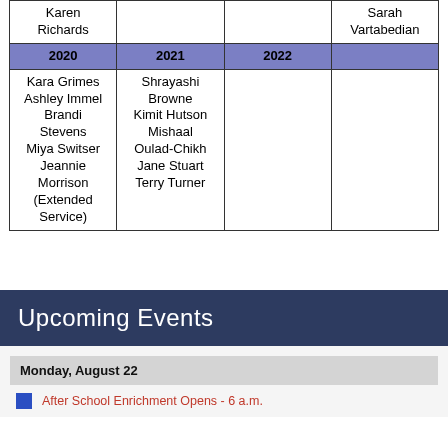| 2020 | 2021 | 2022 |  |
| --- | --- | --- | --- |
| Karen Richards |  |  | Sarah Vartabedian |
| Kara Grimes
Ashley Immel
Brandi Stevens
Miya Switser
Jeannie Morrison
(Extended Service) | Shrayashi Browne
Kimit Hutson
Mishaal Oulad-Chikh
Jane Stuart
Terry Turner |  |  |
Upcoming Events
Monday, August 22
After School Enrichment Opens - 6 a.m.